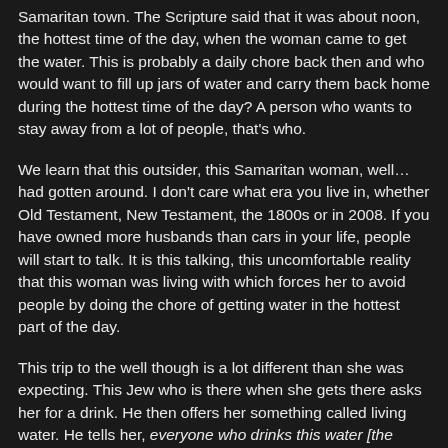Samaritan town. The Scripture said that it was about noon, the hottest time of the day, when the woman came to get the water. This is probably a daily chore back then and who would want to fill up jars of water and carry them back home during the hottest time of the day? A person who wants to stay away from a lot of people, that's who.
We learn that this outsider, this Samaritan woman, well… had gotten around. I don't care what era you live in, whether Old Testament, New Testament, the 1800s or in 2008. If you have owned more husbands than cars in your life, people will start to talk. It is this talking, this uncomfortable reality that this woman was living with which forces her to avoid people by doing the chore of getting water in the hottest part of the day.
This trip to the well though is a lot different than she was expecting. This Jew who is there when she gets there asks her for a drink. He then offers her something called living water. He tells her, everyone who drinks this water [the water in the well] will be thirsty again, but whoever drinks the water I give him will never thirst. Indeed, the water I give will become in the person a fountain of water welling up to life...